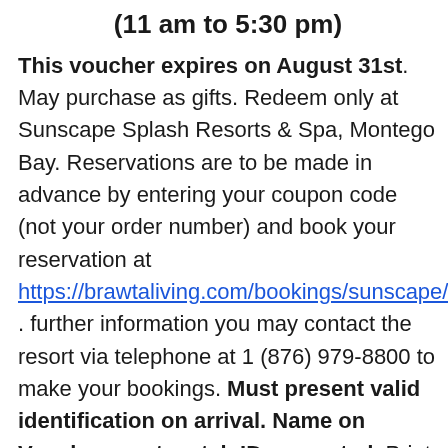(11 am to 5:30 pm)
This voucher expires on August 31st. May purchase as gifts. Redeem only at Sunscape Splash Resorts & Spa, Montego Bay. Reservations are to be made in advance by entering your coupon code (not your order number) and book your reservation at https://brawtaliving.com/bookings/sunscape/ . further information you may contact the resort via telephone at 1 (876) 979-8800 to make your bookings. Must present valid identification on arrival. Name on Voucher must match ID presented. Print your Brawta Living voucher or show your coupon code on your smart phone. Cannot be combined with any other offer or promotion. Merchant is